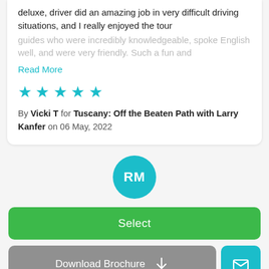deluxe, driver did an amazing job in very difficult driving situations, and I really enjoyed the tour guides who were incredibly knowledgeable, spoke English well, and were very friendly. Such a fun and
Read More
[Figure (other): 5 teal star rating icons]
By Vicki T for Tuscany: Off the Beaten Path with Larry Kanfer on 06 May, 2022
[Figure (other): Teal circular avatar with initials RM]
Select
Download Brochure
[Figure (other): Mail envelope icon button in teal]